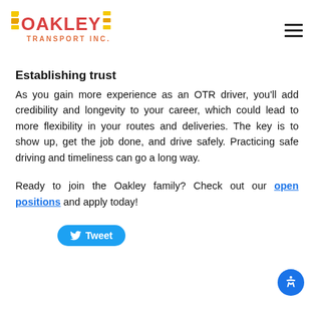[Figure (logo): Oakley Transport Inc. logo with yellow and red horizontal stripes and bold red text]
Establishing trust
As you gain more experience as an OTR driver, you'll add credibility and longevity to your career, which could lead to more flexibility in your routes and deliveries. The key is to show up, get the job done, and drive safely. Practicing safe driving and timeliness can go a long way.
Ready to join the Oakley family? Check out our open positions and apply today!